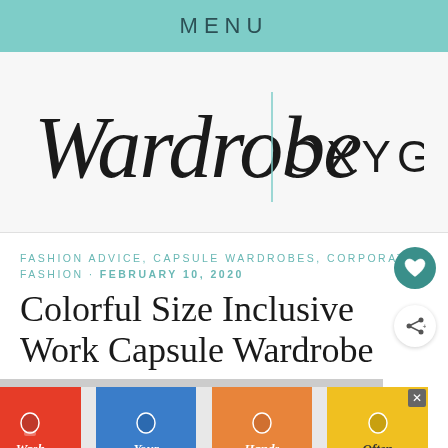MENU
[Figure (logo): Wardrobe Oxygen logo — cursive 'Wardrobe' with a vertical teal divider and 'OXYGEN' in spaced sans-serif capitals]
FASHION ADVICE, CAPSULE WARDROBES, CORPORATE FASHION · FEBRUARY 10, 2020
Colorful Size Inclusive Work Capsule Wardrobe
[Figure (infographic): Advertisement banner: 'Wash Your Hands Often' with illustrated hands and colorful background panels (red, blue, orange, yellow, dark brown)]